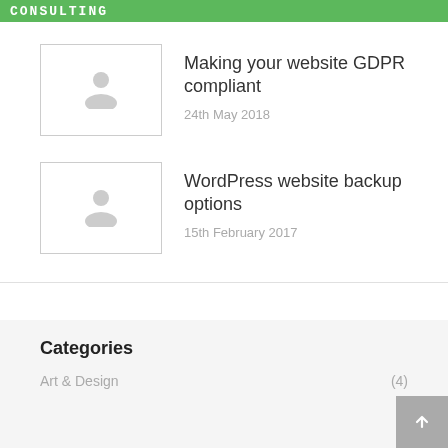CONSULTING
[Figure (illustration): Placeholder thumbnail with grey person/avatar icon]
Making your website GDPR compliant
24th May 2018
[Figure (illustration): Placeholder thumbnail with grey person/avatar icon]
WordPress website backup options
15th February 2017
Categories
Art & Design (4)